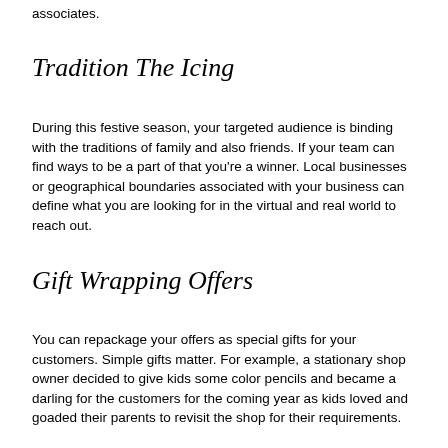associates.
Tradition The Icing
During this festive season, your targeted audience is binding with the traditions of family and also friends. If your team can find ways to be a part of that you're a winner. Local businesses or geographical boundaries associated with your business can define what you are looking for in the virtual and real world to reach out.
Gift Wrapping Offers
You can repackage your offers as special gifts for your customers. Simple gifts matter. For example, a stationary shop owner decided to give kids some color pencils and became a darling for the customers for the coming year as kids loved and goaded their parents to revisit the shop for their requirements.